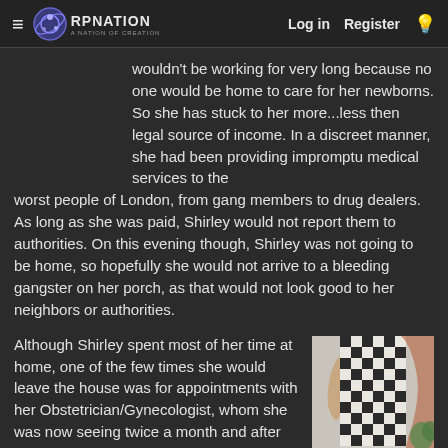RPNation — Log in   Register
wouldn't be working for very long because no one would be home to care for her newborns. So she has stuck to her more...less then legal source of income. In a discreet manner, she had been providing impromptu medical services to the worst people of London, from gang members to drug dealers. As long as she was paid, Shirley would not report them to authorities. On this evening though, Shirley was not going to be home, so hopefully she would not arrive to a bleeding gangster on her porch, as that would not look good to her neighbors or authorities.
Although Shirley spent most of her time at home, one of the few times she would leave the house was for appointments with her Obstetrician/Gynecologist, whom she was now seeing twice a month and after the next appointment two weeks from this one, she would starting seeing her
[Figure (photo): A person wearing a black and white checkered/plaid dress, partial view from waist down, indoor setting with a light wall background.]